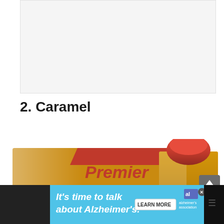[Figure (photo): Blank/white space area at top of page, appears to be placeholder for a product image]
2. Caramel
[Figure (photo): Premier Protein Caramel flavor shake product photo showing a 12-pack box and a single carton with red cap. The packaging is gold/caramel colored with red and dark Premier Protein branding.]
[Figure (photo): Advertisement banner at bottom: 'It's time to talk about Alzheimer's.' with 'LEARN MORE' button and Alzheimer's Association logo]